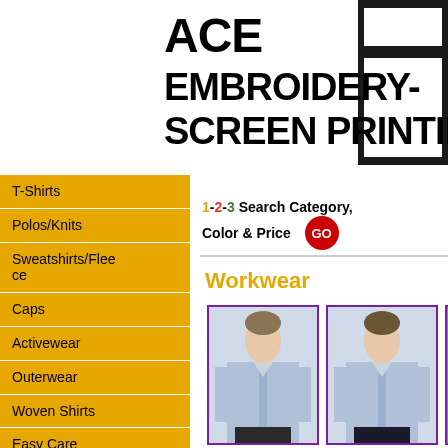[Figure (logo): ACE Embroidery-Screen Printing logo with bold black text and dark geometric square blocks on right]
T-Shirts
Polos/Knits
Sweatshirts/Fleece
Caps
Activewear
Outerwear
Woven Shirts
Easy Care
Oxfords
Workwear
1-2-3 Search Category, Color & Price GO
Workwear
[Figure (photo): Three men modeling workwear shirts: two in long-sleeve chambray-style shirts and one in a short-sleeve blue shirt, shown from waist up]
[Figure (photo): Second man in long-sleeve chambray shirt]
[Figure (photo): Third man in short-sleeve blue shirt, partially cropped]